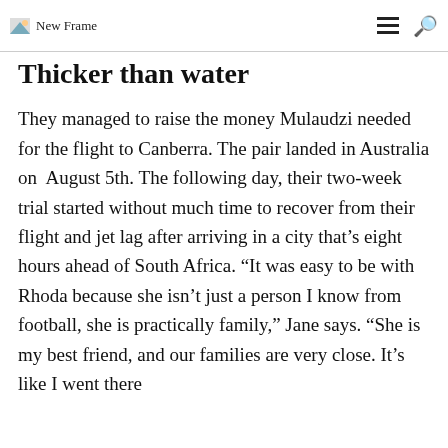New Frame
Thicker than water
They managed to raise the money Mulaudzi needed for the flight to Canberra. The pair landed in Australia on  August 5th. The following day, their two-week trial started without much time to recover from their flight and jet lag after arriving in a city that’s eight hours ahead of South Africa. “It was easy to be with Rhoda because she isn’t just a person I know from football, she is practically family,” Jane says. “She is my best friend, and our families are very close. It’s like I went there